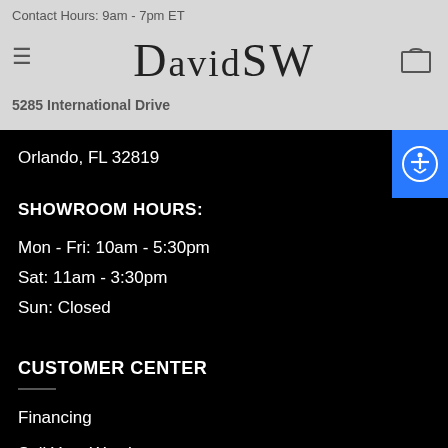Contact Hours: 9am - 7pm ET
DavidSW
5285 International Drive
Orlando, FL 32819
SHOWROOM HOURS:
Mon - Fri: 10am - 5:30pm
Sat: 11am - 3:30pm
Sun: Closed
CUSTOMER CENTER
Financing
Sell Your Watch
Special Request